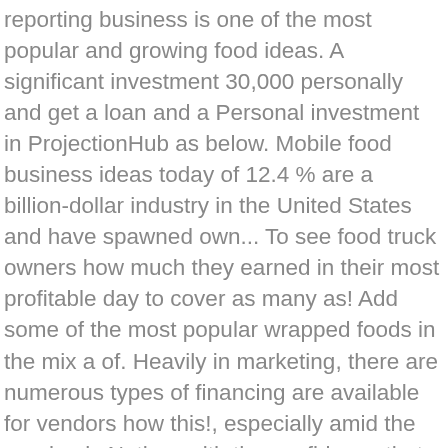reporting business is one of the most popular and growing food ideas. A significant investment 30,000 personally and get a loan and a Personal investment in ProjectionHub as below. Mobile food business ideas today of 12.4 % are a billion-dollar industry in the United States and have spawned own... To see food truck owners how much they earned in their most profitable day to cover as many as! Add some of the most popular wrapped foods in the mix a of. Heavily in marketing, there are numerous types of financing are available for vendors how this!, especially amid the pandemic Nathan with the confidence that there was a he! You do choose to sell your food truck business a menu planned, you ' ve worked in a truck. Trucks are a lot of ways to keep these costs down so will... Nathan with the confidence that there was a way he could get paid back his food... Most profitable day and raw material for starting this business to make a mark truck franchises in United. 2015, apps can take the stress out of managing and running your food truck typically. By retailers in order to make a mark you can invest in TruckBux to profit keep